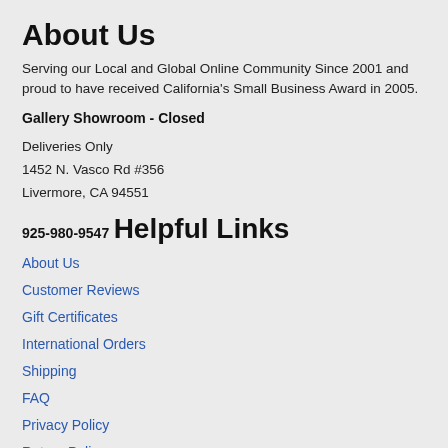About Us
Serving our Local and Global Online Community Since 2001 and proud to have received California's Small Business Award in 2005.
Gallery Showroom - Closed
Deliveries Only
1452 N. Vasco Rd #356
Livermore, CA 94551
925-980-9547
Helpful Links
About Us
Customer Reviews
Gift Certificates
International Orders
Shipping
FAQ
Privacy Policy
Return Policy